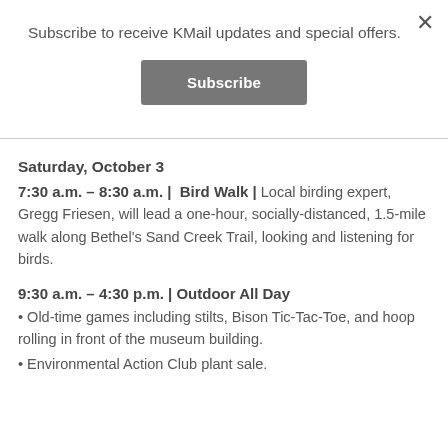Subscribe to receive KMail updates and special offers.
[Figure (other): Subscribe button — grey rectangular button with white bold text 'Subscribe']
Saturday, October 3
7:30 a.m. – 8:30 a.m. | Bird Walk | Local birding expert, Gregg Friesen, will lead a one-hour, socially-distanced, 1.5-mile walk along Bethel's Sand Creek Trail, looking and listening for birds.
9:30 a.m. – 4:30 p.m. | Outdoor All Day
• Old-time games including stilts, Bison Tic-Tac-Toe, and hoop rolling in front of the museum building.
• Environmental Action Club plant sale.